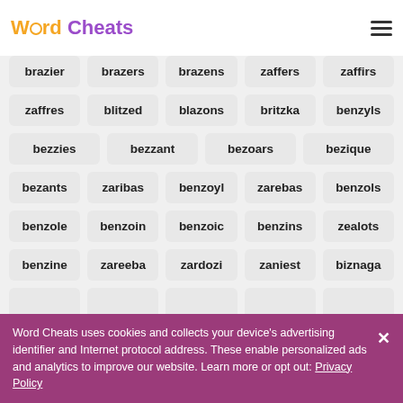Word Cheats
brazier
brazers
brazens
zaffers
zaffirs
zaffres
blitzed
blazons
britzka
benzyls
bezzies
bezzant
bezoars
bezique
bezants
zaribas
benzoyl
zarebas
benzols
benzole
benzoin
benzoic
benzins
zealots
benzine
zareeba
zardozi
zaniest
biznaga
Word Cheats uses cookies and collects your device's advertising identifier and Internet protocol address. These enable personalized ads and analytics to improve our website. Learn more or opt out: Privacy Policy